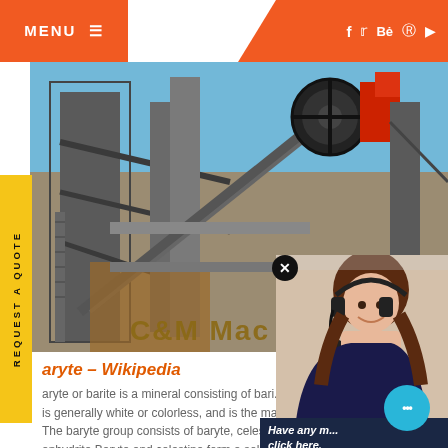MENU ≡
[Figure (photo): Mining/crushing machinery equipment at an industrial site with blue sky background, showing large conveyor belts and mechanical components. Text 'C&M Mac' visible at bottom of image.]
REQUEST A QUOTE
aryte - Wikipedia
aryte or barite is a mineral consisting of bari... is generally white or colorless, and is the main... The baryte group consists of baryte, celestine... anhydrite Baryte and celestine form a solid so...
[Figure (photo): Customer service representative woman with headset smiling]
Have any m... click here.
Quot
Enquiry
drobilkalm